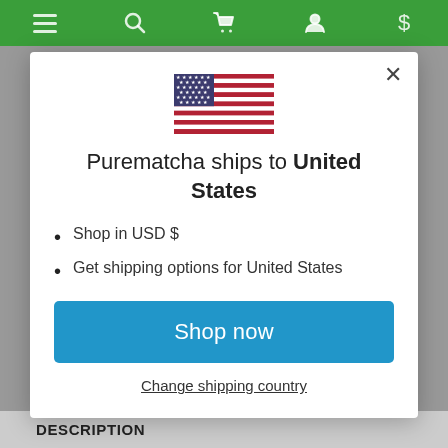Navigation bar with menu, search, cart, account, and dollar sign icons
[Figure (illustration): US flag emoji/illustration centered in modal]
Purematcha ships to United States
Shop in USD $
Get shipping options for United States
Shop now
Change shipping country
DESCRIPTION